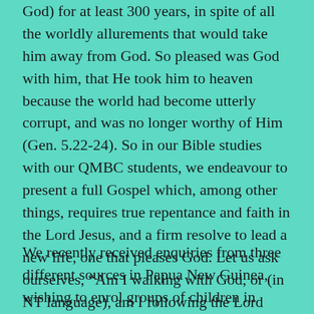God) for at least 300 years, in spite of all the worldly allurements that would take him away from God. So pleased was God with him, that He took him to heaven because the world had become utterly corrupt, and was no longer worthy of Him (Gen. 5.22-24). So in our Bible studies with our QMBC students, we endeavour to present a full Gospel which, among other things, requires true repentance and faith in the Lord Jesus, and a firm resolve to lead a new life, one that pleases God. Let us ask ourselves, “Am I walking with God, or (in NT language), am I following the Lord Jesus who in His walk was “holy, blameless, pure and set apart from sinners”? (Heb. 7.26).
We recently received enquiries from three different sources in Papua New Guinea, wishing to enrol groups of children in QMBC. We have already been given 24 new names from one source, and 51 from another